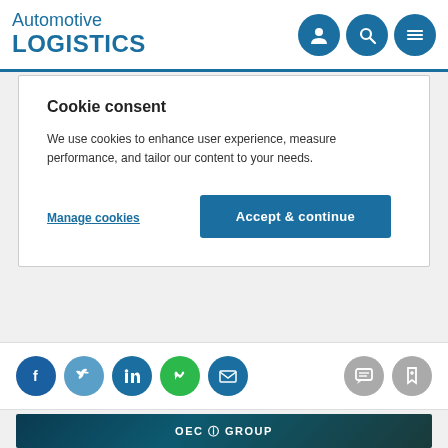Automotive LOGISTICS
Cookie consent
We use cookies to enhance user experience, measure performance, and tailor our content to your needs.
Manage cookies | Accept & continue
[Figure (screenshot): Social media sharing icons: Facebook, Twitter, LinkedIn, WhatsApp, Email on the left; comment and bookmark icons on the right]
[Figure (photo): OEC Group advertisement banner with dark automotive background showing car and tyre textures with OEC Group logo in white text]